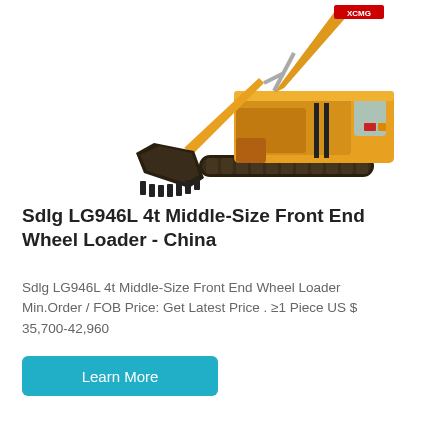[Figure (photo): Yellow XCMG excavator with large black bucket arm extended, tracked undercarriage, white background]
Sdlg LG946L 4t Middle-Size Front End Wheel Loader - China
Sdlg LG946L 4t Middle-Size Front End Wheel Loader Min.Order / FOB Price: Get Latest Price . ≥1 Piece US $ 35,700-42,960